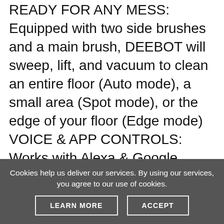READY FOR ANY MESS: Equipped with two side brushes and a main brush, DEEBOT will sweep, lift, and vacuum to clean an entire floor (Auto mode), a small area (Spot mode), or the edge of your floor (Edge mode) VOICE & APP CONTROLS: Works with Alexa & Google Assistant voice commands. ECOVACS Smart App comes w/ 5+ advanced features including direct control, scheduling, status updates, cleaning modes, accessories status, etc MAX MODE POWER: Increase suction power by up to 2X for particularly troublesome messes. Noise Level (db.) (Standard/ Max, Intensive) - 65.6 . Dust Bin Capacity(ml)- 520 UP TO 110 MINUTE RUNTIME: A longer battery life for even more cleaning! Auto-return & charging means your robot will always be ready to clean BASIC FEATURES: Includes anti-drop & anti-collision sensors,
Cookies help us deliver our services. By using our services, you agree to our use of cookies.